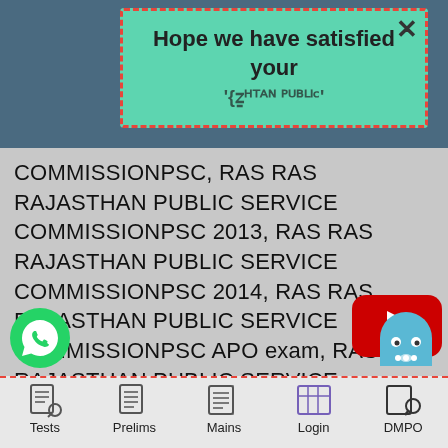[Figure (screenshot): Popup banner with teal/green background and dashed red border showing satisfaction message with X close button]
Hope we have satisfied your
COMMISSIONPSC, RAS RAS RAJASTHAN PUBLIC SERVICE COMMISSIONPSC 2013, RAS RAS RAJASTHAN PUBLIC SERVICE COMMISSIONPSC 2014, RAS RAS RAJASTHAN PUBLIC SERVICE COMMISSIONPSC APO exam, RAS RAS RAJASTHAN PUBLIC SERVICE COMMISSIONPSC Exam Date 2014, RAS RAS RAJASTHAN PUBLIC SERVICE COMMISSIONPSC Exam Schedule, RAS RAS RAJASTHAN PUBLIC SERVICE COMMISSIONPSC lecturer exam 2012, RAS
[Figure (logo): YouTube play button icon (red rounded rectangle with white triangle)]
[Figure (logo): WhatsApp green circle icon with phone handset]
[Figure (logo): Ghost/chat bubble icon in teal/blue color]
Tests | Prelims | Mains | Login | DMPO